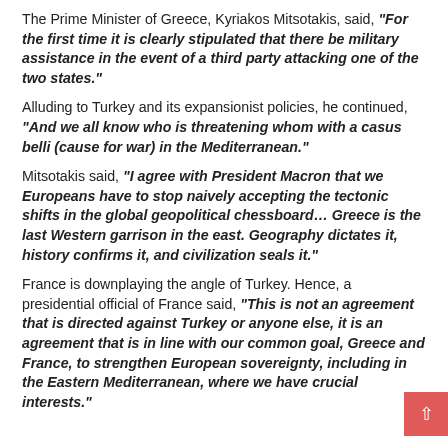The Prime Minister of Greece, Kyriakos Mitsotakis, said, "For the first time it is clearly stipulated that there be military assistance in the event of a third party attacking one of the two states."
Alluding to Turkey and its expansionist policies, he continued, "And we all know who is threatening whom with a casus belli (cause for war) in the Mediterranean."
Mitsotakis said, "I agree with President Macron that we Europeans have to stop naively accepting the tectonic shifts in the global geopolitical chessboard… Greece is the last Western garrison in the east. Geography dictates it, history confirms it, and civilization seals it."
France is downplaying the angle of Turkey. Hence, a presidential official of France said, "This is not an agreement that is directed against Turkey or anyone else, it is an agreement that is in line with our common goal, Greece and France, to strengthen European sovereignty, including in the Eastern Mediterranean, where we have crucial interests."